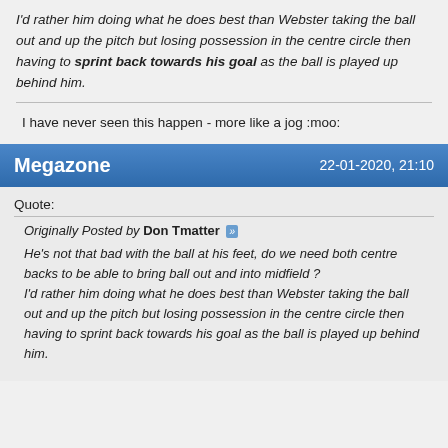I'd rather him doing what he does best than Webster taking the ball out and up the pitch but losing possession in the centre circle then having to sprint back towards his goal as the ball is played up behind him.
I have never seen this happen - more like a jog :moo:
Megazone  22-01-2020, 21:10
Quote:
Originally Posted by Don Tmatter
He's not that bad with the ball at his feet, do we need both centre backs to be able to bring ball out and into midfield ?
I'd rather him doing what he does best than Webster taking the ball out and up the pitch but losing possession in the centre circle then having to sprint back towards his goal as the ball is played up behind him.